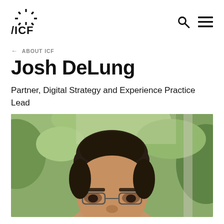ICF logo, search and menu icons
← ABOUT ICF
Josh DeLung
Partner, Digital Strategy and Experience Practice Lead
[Figure (photo): Headshot photo of Josh DeLung, a man with short dark hair, outdoors with blurred green foliage background]